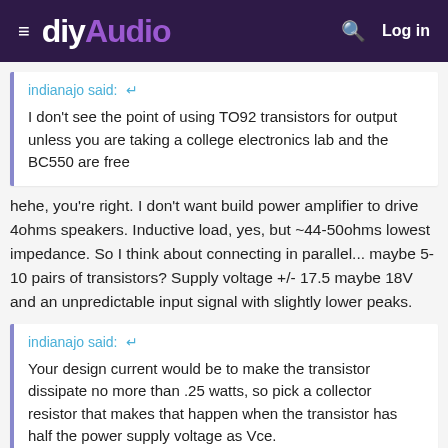diyAudio — Log in
indianajo said: ↩
I don't see the point of using TO92 transistors for output unless you are taking a college electronics lab and the BC550 are free
hehe, you're right. I don't want build power amplifier to drive 4ohms speakers. Inductive load, yes, but ~44-50ohms lowest impedance. So I think about connecting in parallel... maybe 5-10 pairs of transistors? Supply voltage +/- 17.5 maybe 18V and an unpredictable input signal with slightly lower peaks.
indianajo said: ↩
Your design current would be to make the transistor dissipate no more than .25 watts, so pick a collector resistor that makes that happen when the transistor has half the power supply voltage as Vce.